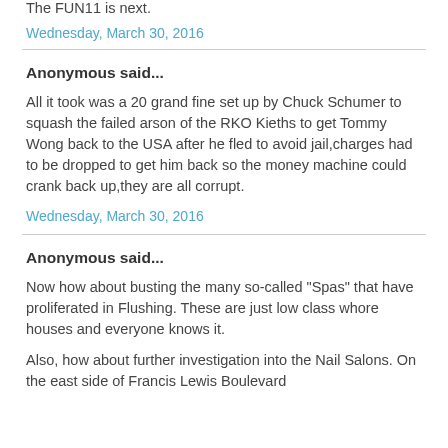The FUN11 is next.
Wednesday, March 30, 2016
Anonymous said...
All it took was a 20 grand fine set up by Chuck Schumer to squash the failed arson of the RKO Kieths to get Tommy Wong back to the USA after he fled to avoid jail,charges had to be dropped to get him back so the money machine could crank back up,they are all corrupt.
Wednesday, March 30, 2016
Anonymous said...
Now how about busting the many so-called "Spas" that have proliferated in Flushing. These are just low class whore houses and everyone knows it.
Also, how about further investigation into the Nail Salons. On the east side of Francis Lewis Boulevard